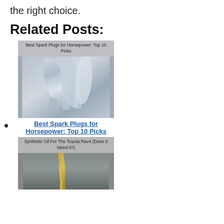the right choice.
Related Posts:
Best Spark Plugs for Horsepower: Top 10 Picks
[Figure (photo): Close-up photo of multiple spark plugs with overlay text: Best Spark Plugs for Horsepower: Top 10 Picks]
Best Spark Plugs for Horsepower: Top 10 Picks
[Figure (photo): Photo of golden engine oil being poured with overlay text: Synthetic Oil For The Toyota Rav4 (Does It Need It?)]